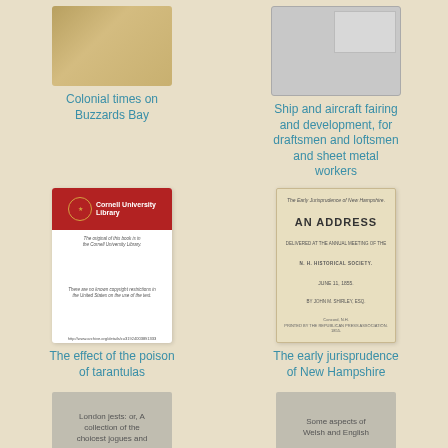[Figure (illustration): Book cover for Colonial times on Buzzards Bay, golden/tan colored cover]
Colonial times on Buzzards Bay
[Figure (illustration): Book cover for Ship and aircraft fairing, gray placeholder cover]
Ship and aircraft fairing and development, for draftsmen and loftsmen and sheet metal workers
[Figure (illustration): Cornell University Library digitization notice card with Cornell seal and red header]
The effect of the poison of tarantulas
[Figure (illustration): Title page of The early jurisprudence of New Hampshire, showing AN ADDRESS to N.H. Historical Society]
The early jurisprudence of New Hampshire
[Figure (illustration): Gray placeholder cover for London jests]
London jests: or, A collection of the choicest jogues and
[Figure (illustration): Gray placeholder cover for Some aspects of Welsh and English]
Some aspects of Welsh and English